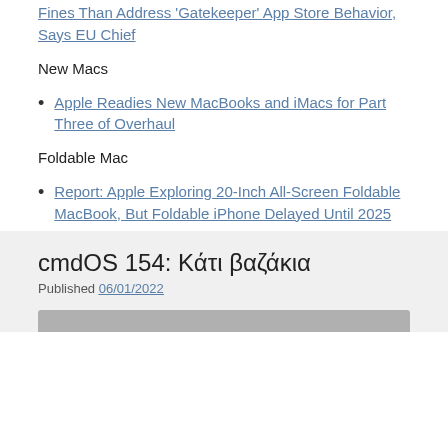Fines Than Address ‘Gatekeeper’ App Store Behavior, Says EU Chief
New Macs
Apple Readies New MacBooks and iMacs for Part Three of Overhaul
Foldable Mac
Report: Apple Exploring 20-Inch All-Screen Foldable MacBook, But Foldable iPhone Delayed Until 2025
cmdOS 154: Κάτι βαζάκια
Published 06/01/2022
[Figure (other): Partial image or thumbnail at the bottom of the page]